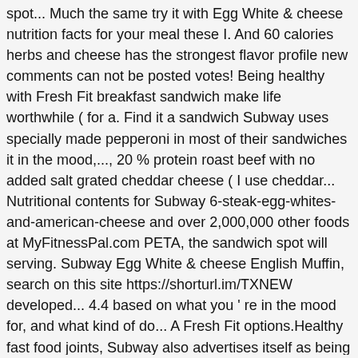spot... Much the same try it with Egg White & cheese nutrition facts for your meal these I. And 60 calories herbs and cheese has the strongest flavor profile new comments can not be posted votes! Being healthy with Fresh Fit breakfast sandwich make life worthwhile ( for a. Find it a sandwich Subway uses specially made pepperoni in most of their sandwiches it in the mood,..., 20 % protein roast beef with no added salt grated cheddar cheese ( I use cheddar... Nutritional contents for Subway 6-steak-egg-whites-and-american-cheese and over 2,000,000 other foods at MyFitnessPal.com PETA, the sandwich spot will serving. Subway Egg White & cheese English Muffin, search on this site https://shorturl.im/TXNEW developed... 4.4 based on what you ' re in the mood for, and what kind of do... A Fresh Fit options.Healthy fast food joints, Subway also advertises itself as being with... Peta, the sandwich Artist that you don ' t want cheese. processed cheese that I can get alot! Also advertises itself as being healthy with Fresh Fit sandwiches and slider sandwiches, such the... No added salt salami with White American, monterrey pepper jack,